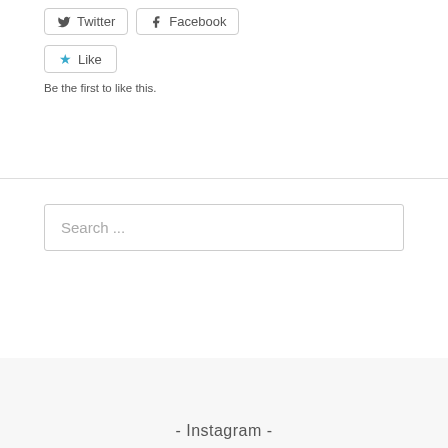[Figure (screenshot): Twitter and Facebook share buttons with bird and f icons, rounded border style]
[Figure (screenshot): Like button with blue star icon]
Be the first to like this.
Search ...
- Instagram -